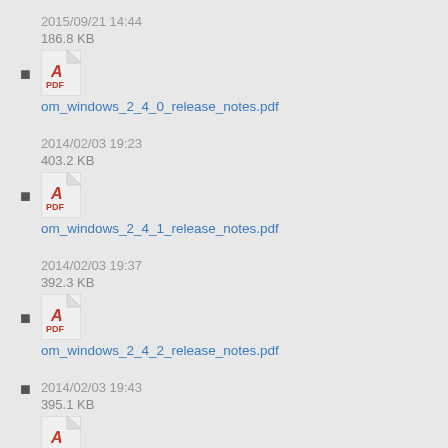2015/09/21 14:44
186.8 KB
om_windows_2_4_0_release_notes.pdf
2014/02/03 19:23
403.2 KB
om_windows_2_4_1_release_notes.pdf
2014/02/03 19:37
392.3 KB
om_windows_2_4_2_release_notes.pdf
2014/02/03 19:43
395.1 KB